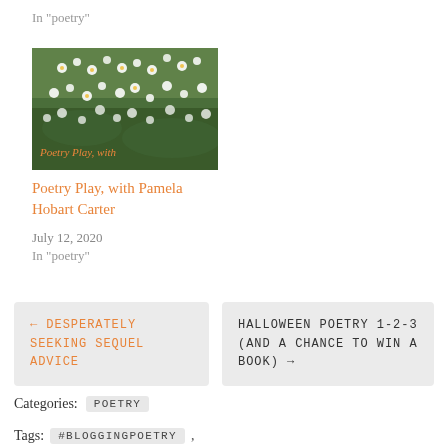In "poetry"
[Figure (photo): A photo of white daisy flowers in a green field with the text 'Poetry Play with' overlaid in orange]
Poetry Play, with Pamela Hobart Carter
July 12, 2020
In "poetry"
← DESPERATELY SEEKING SEQUEL ADVICE
HALLOWEEN POETRY 1-2-3 (AND A CHANCE TO WIN A BOOK) →
Categories:  POETRY
Tags:  #BLOGGINGPOETRY ,